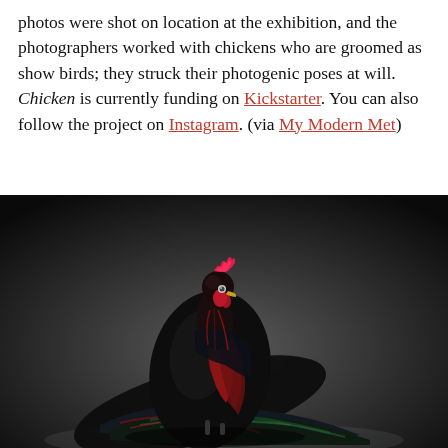photos were shot on location at the exhibition, and the photographers worked with chickens who are groomed as show birds; they struck their photogenic poses at will. Chicken is currently funding on Kickstarter. You can also follow the project on Instagram. (via My Modern Met)
[Figure (photo): A dramatic studio photograph of a black rooster with vivid red and iridescent green-black plumage, a bright pink-red comb, posed against a dark gradient background. The bird's long tail feathers spread dramatically across the ground.]